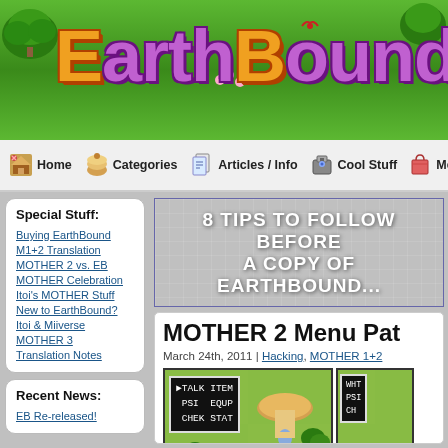[Figure (screenshot): EarthBound Central website header banner with colorful game-themed logo text on green background]
Home | Categories | Articles / Info | Cool Stuff | Merch
Special Stuff:
Buying EarthBound
M1+2 Translation
MOTHER 2 vs. EB
MOTHER Celebration
Itoi's MOTHER Stuff
New to EarthBound?
Itoi & Miiverse
MOTHER 3
Translation Notes
Recent News:
EB Re-released!
[Figure (screenshot): Promotional banner: 8 TIPS TO FOLLOW BEFORE... A COPY OF EARTHBOUND...]
MOTHER 2 Menu Pat
March 24th, 2011 | Hacking, MOTHER 1+2
[Figure (screenshot): MOTHER 2 game screenshot showing menu with TALK ITEM / PSI EQUP / CHEK STAT options and game scene]